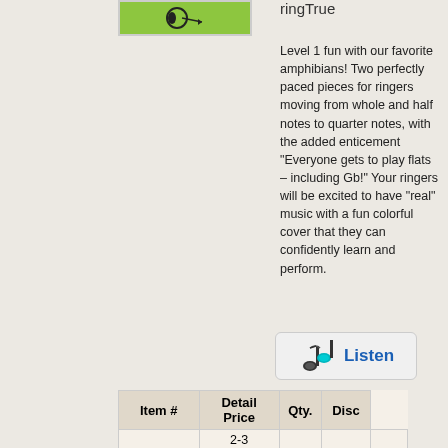[Figure (illustration): Product cover image with green background and frog/ring imagery]
ringTrue
Level 1 fun with our favorite amphibians! Two perfectly paced pieces for ringers moving from whole and half notes to quarter notes, with the added enticement "Everyone gets to play flats – including Gb!" Your ringers will be excited to have "real" music with a fun colorful cover that they can confidently learn and perform.
[Figure (illustration): Listen button with music note icon and teal color scheme]
| Item # | Detail Price | Qty. | Disc |
| --- | --- | --- | --- |
| MRE303012 | 2-3 and 2-5 oct | $3.00 / $2.55 |  | 15% |